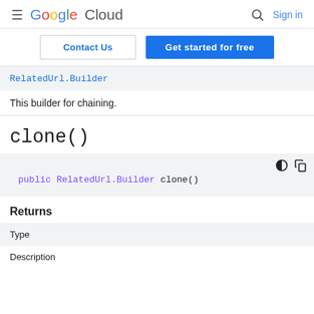Google Cloud  Sign in
Contact Us | Get started for free
RelatedUrl.Builder
This builder for chaining.
clone()
public RelatedUrl.Builder clone()
Returns
| Type | Description |
| --- | --- |